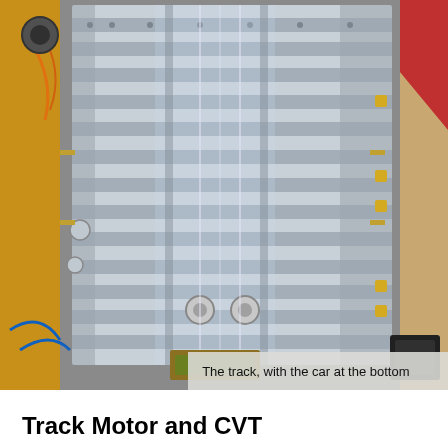[Figure (photo): Top-down view of a Meccano/metal construction set track assembly with a car at the bottom. The track consists of perforated metal strips arranged in a long rectangular frame with mechanical components, pulleys, and wiring visible. The structure sits on a wooden surface with colorful wiring and electronic components visible around the edges.]
The track, with the car at the bottom
Track Motor and CVT